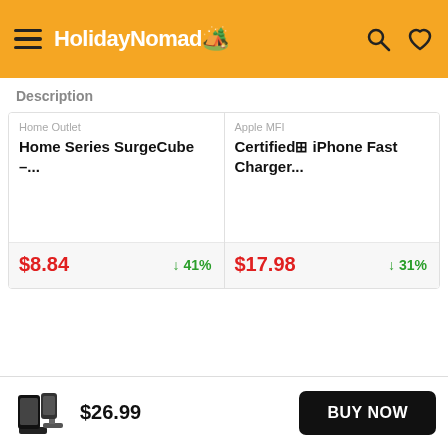HolidayNomad
Description
Home Outlet
Home Series SurgeCube –...
$8.84   ↓ 41%
Apple MFI
Certified iPhone Fast Charger...
$17.98   ↓ 31%
$26.99
BUY NOW